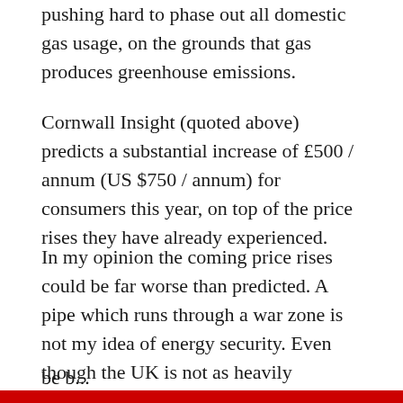pushing hard to phase out all domestic gas usage, on the grounds that gas produces greenhouse emissions.
Cornwall Insight (quoted above) predicts a substantial increase of £500 / annum (US $750 / annum) for consumers this year, on top of the price rises they have already experienced.
In my opinion the coming price rises could be far worse than predicted. A pipe which runs through a war zone is not my idea of energy security. Even though the UK is not as heavily dependent on Russian gas as say Germany, if the Ukraine conflict deteriorates, everyone will be b...